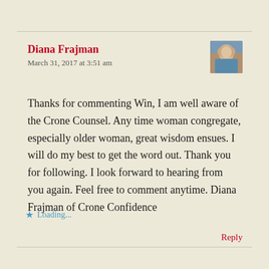Diana Frajman
March 31, 2017 at 3:51 am
[Figure (photo): Small portrait photo of Diana Frajman, a woman with blonde hair wearing a blue top]
Thanks for commenting Win, I am well aware of the Crone Counsel. Any time woman congregate, especially older woman, great wisdom ensues. I will do my best to get the word out. Thank you for following. I look forward to hearing from you again. Feel free to comment anytime. Diana Frajman of Crone Confidence
★ Loading...
Reply